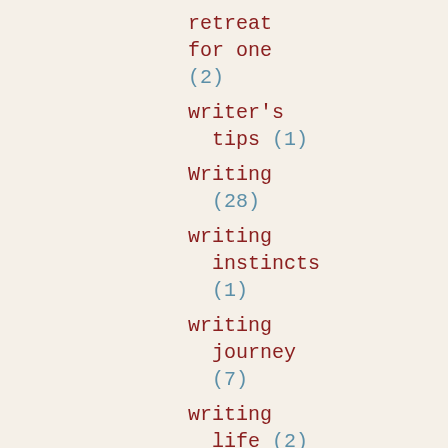retreat for one (2)
writer's tips (1)
Writing (28)
writing instincts (1)
writing journey (7)
writing life (2)
writing process (2)